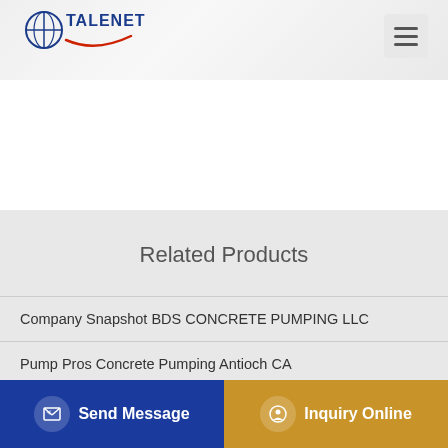TALENET
Related Products
Company Snapshot BDS CONCRETE PUMPING LLC
Pump Pros Concrete Pumping Antioch CA
Certified Traceway Truck Mounted Trailer Concrete Pump
Send Message
Inquiry Online